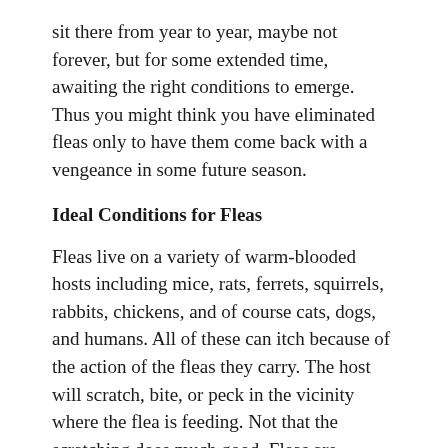sit there from year to year, maybe not forever, but for some extended time, awaiting the right conditions to emerge. Thus you might think you have eliminated fleas only to have them come back with a vengeance in some future season.
Ideal Conditions for Fleas
Fleas live on a variety of warm-blooded hosts including mice, rats, ferrets, squirrels, rabbits, chickens, and of course cats, dogs, and humans. All of these can itch because of the action of the fleas they carry. The host will scratch, bite, or peck in the vicinity where the flea is feeding. Not that the scratching does much good. Fleas are parasites which appear to do no good for the animals on which they ride and jump.
Fleas have some allies, however. Tapeworms appear